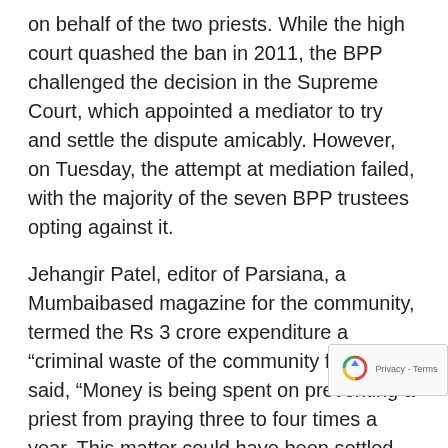on behalf of the two priests. While the high court quashed the ban in 2011, the BPP challenged the decision in the Supreme Court, which appointed a mediator to try and settle the dispute amicably. However, on Tuesday, the attempt at mediation failed, with the majority of the seven BPP trustees opting against it.
Jehangir Patel, editor of Parsiana, a Mumbaibased magazine for the community, termed the Rs 3 crore expenditure a “criminal waste of the community fund”. He said, “Money is being spent on preventing a priest from praying three to four times a year. This matter could have been settled easily, but they have made it a prestige issue.”
While Mirza and Madon are banned from the two BPP-controlled fire temples, they do